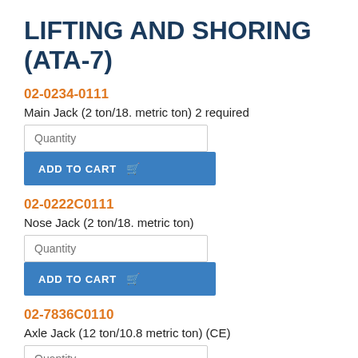LIFTING AND SHORING (ATA-7)
02-0234-0111
Main Jack (2 ton/18. metric ton) 2 required
02-0222C0111
Nose Jack (2 ton/18. metric ton)
02-7836C0110
Axle Jack (12 ton/10.8 metric ton) (CE)